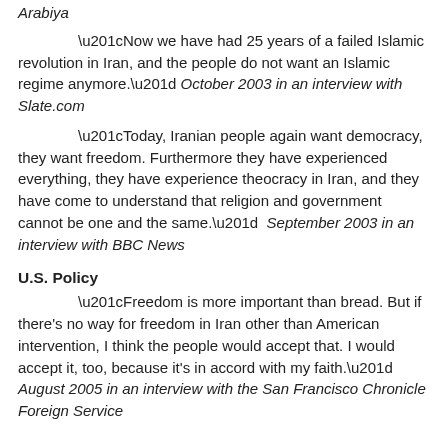Arabiya
“Now we have had 25 years of a failed Islamic revolution in Iran, and the people do not want an Islamic regime anymore.” October 2003 in an interview with Slate.com
“Today, Iranian people again want democracy, they want freedom. Furthermore they have experienced everything, they have experience theocracy in Iran, and they have come to understand that religion and government cannot be one and the same.”  September 2003 in an interview with BBC News
U.S. Policy
“Freedom is more important than bread. But if there’s no way for freedom in Iran other than American intervention, I think the people would accept that. I would accept it, too, because it’s in accord with my faith.” August 2005 in an interview with the San Francisco Chronicle Foreign Service